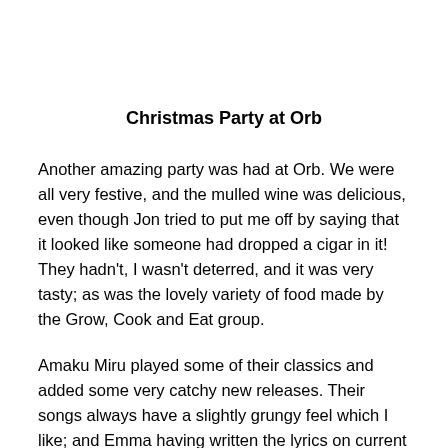Christmas Party at Orb
Another amazing party was had at Orb. We were all very festive, and the mulled wine was delicious, even though Jon tried to put me off by saying that it looked like someone had dropped a cigar in it! They hadn't, I wasn't deterred, and it was very tasty; as was the lovely variety of food made by the Grow, Cook and Eat group.
Amaku Miru played some of their classics and added some very catchy new releases. Their songs always have a slightly grungy feel which I like; and Emma having written the lyrics on current events- politically and in her and Andy's life, adds a personal touch which is very